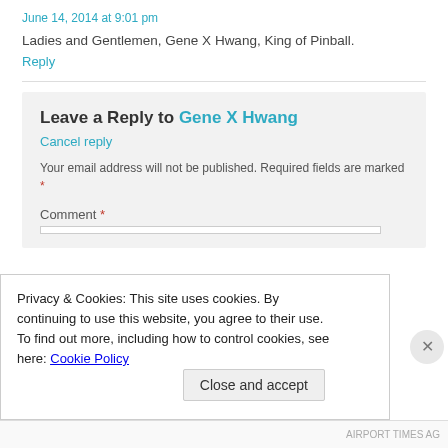June 14, 2014 at 9:01 pm
Ladies and Gentlemen, Gene X Hwang, King of Pinball.
Reply
Leave a Reply to Gene X Hwang
Cancel reply
Your email address will not be published. Required fields are marked *
Comment *
Privacy & Cookies: This site uses cookies. By continuing to use this website, you agree to their use.
To find out more, including how to control cookies, see here: Cookie Policy
Close and accept